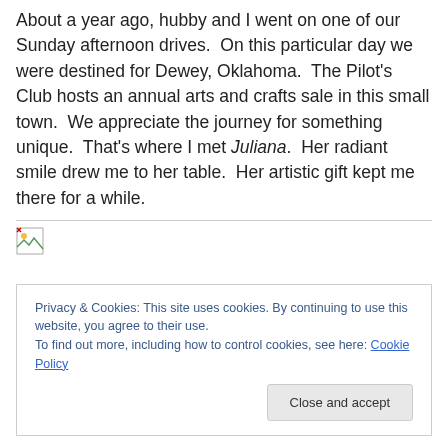About a year ago, hubby and I went on one of our Sunday afternoon drives.  On this particular day we were destined for Dewey, Oklahoma.  The Pilot's Club hosts an annual arts and crafts sale in this small town.  We appreciate the journey for something unique.  That's where I met Juliana.  Her radiant smile drew me to her table.  Her artistic gift kept me there for a while.
[Figure (photo): Broken image placeholder icon with a small landscape thumbnail icon at top-left, followed by a horizontal rule]
Privacy & Cookies: This site uses cookies. By continuing to use this website, you agree to their use.
To find out more, including how to control cookies, see here: Cookie Policy